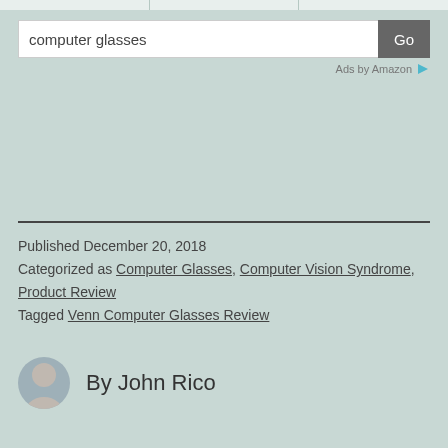[Figure (screenshot): Top navigation bar with three column cells]
[Figure (screenshot): Search box with text 'computer glasses' and a Go button, followed by 'Ads by Amazon' label with arrow icon]
Published December 20, 2018
Categorized as Computer Glasses, Computer Vision Syndrome, Product Review
Tagged Venn Computer Glasses Review
By John Rico